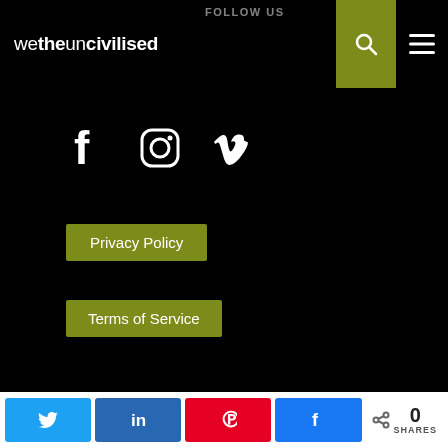wetheuncivilised
FOLLOW US
[Figure (other): Social media icons: Facebook, Instagram, Vimeo]
Privacy Policy
Terms of Service
Proudly powered by WordPress
[Figure (photo): Grey textured background image with wetheuncivilised watermark text]
0 SHARES with Twitter, LinkedIn, Pinterest, Facebook share buttons